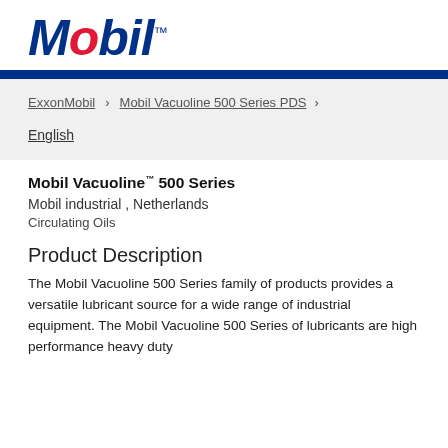[Figure (logo): Mobil logo in blue and red italic bold text]
ExxonMobil > Mobil Vacuoline 500 Series PDS >
English
Mobil Vacuoline™ 500 Series
Mobil industrial , Netherlands
Circulating Oils
Product Description
The Mobil Vacuoline 500 Series family of products provides a versatile lubricant source for a wide range of industrial equipment.  The Mobil Vacuoline 500 Series of lubricants are high performance heavy duty